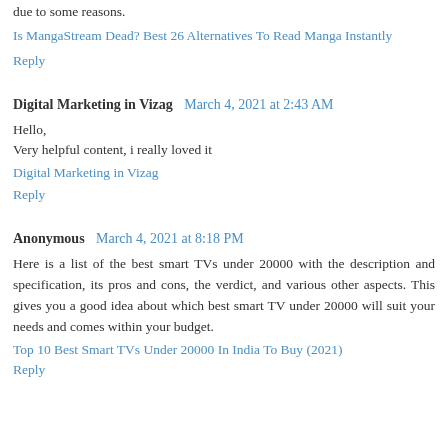due to some reasons.
Is MangaStream Dead? Best 26 Alternatives To Read Manga Instantly
Reply
Digital Marketing in Vizag  March 4, 2021 at 2:43 AM
Hello,
Very helpful content, i really loved it
Digital Marketing in Vizag
Reply
Anonymous  March 4, 2021 at 8:18 PM
Here is a list of the best smart TVs under 20000 with the description and specification, its pros and cons, the verdict, and various other aspects. This gives you a good idea about which best smart TV under 20000 will suit your needs and comes within your budget.
Top 10 Best Smart TVs Under 20000 In India To Buy (2021)
Reply